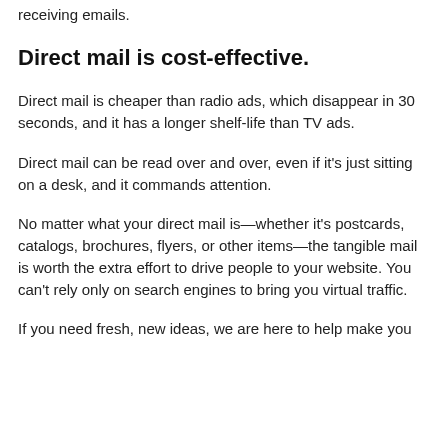receiving emails.
Direct mail is cost-effective.
Direct mail is cheaper than radio ads, which disappear in 30 seconds, and it has a longer shelf-life than TV ads.
Direct mail can be read over and over, even if it's just sitting on a desk, and it commands attention.
No matter what your direct mail is—whether it's postcards, catalogs, brochures, flyers, or other items—the tangible mail is worth the extra effort to drive people to your website. You can't rely only on search engines to bring you virtual traffic.
If you need fresh, new ideas, we are here to help make you